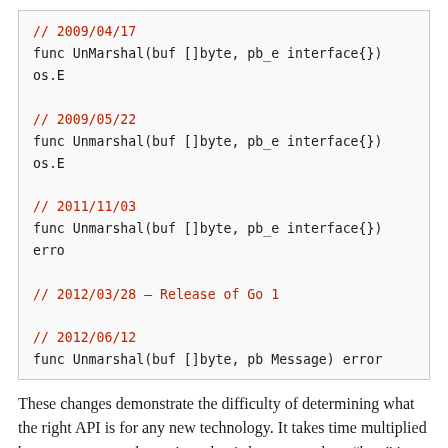[Figure (other): Code block showing versioned Go Unmarshal function signatures from 2009/04/17, 2009/05/22, 2011/11/03, 2012/03/28 (Release of Go 1), and 2012/06/12]
These changes demonstrate the difficulty of determining what the right API is for any new technology. It takes time multiplied by many users to determine what is best; even then, “best” is often still somewhere over the horizon.
The change on June 6th, 2012 added a degree of type-safety to Go protobufs by declaring a new interface that all protobuf